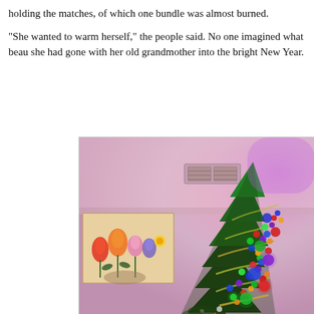holding the matches, of which one bundle was almost burned.
"She wanted to warm herself," the people said. No one imagined what beau she had gone with her old grandmother into the bright New Year.
[Figure (photo): A decorated Christmas tree with colorful lights (green, red, blue, purple, orange) and ornaments, tinsel garland. In the background is a colorful floral painting on the wall and a ceiling vent. The room has pink/purple ambient lighting.]